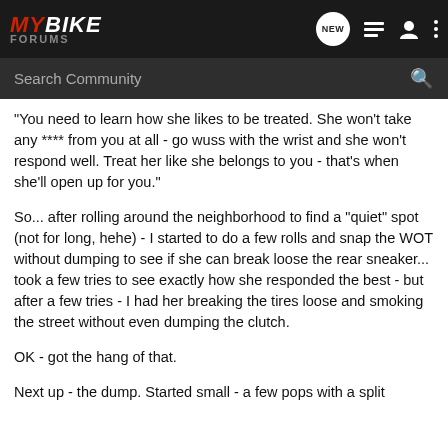MYBIKE FORUMS
Search Community
"You need to learn how she likes to be treated. She won't take any **** from you at all - go wuss with the wrist and she won't respond well. Treat her like she belongs to you - that's when she'll open up for you."
So... after rolling around the neighborhood to find a "quiet" spot (not for long, hehe) - I started to do a few rolls and snap the WOT without dumping to see if she can break loose the rear sneaker... took a few tries to see exactly how she responded the best - but after a few tries - I had her breaking the tires loose and smoking the street without even dumping the clutch.
OK - got the hang of that.
Next up - the dump. Started small - a few pops with a split